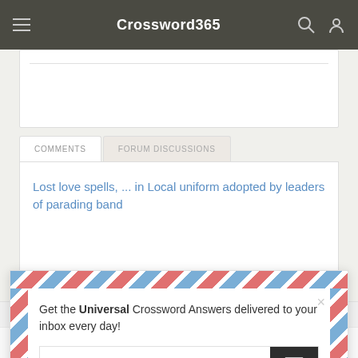Crossword365
COMMENTS | FORUM DISCUSSIONS
Lost love spells, ... in Local uniform adopted by leaders of parading band
Get the Universal Crossword Answers delivered to your inbox every day!
Your E-Mail Address
This website uses cookies to ensure you get the best experience on our website